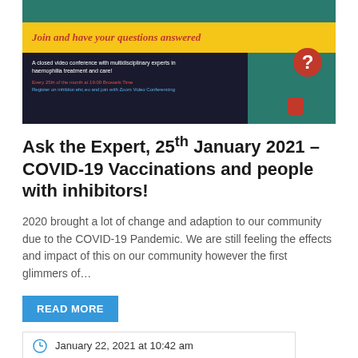[Figure (infographic): Event banner for Ask the Expert series showing a teal/green background with yellow bar containing red italic cursive text 'Join and have your questions answered', dark section with white text about closed video conference with multidisciplinary experts in haemophilia treatment and care, date/registration info in red and blue, and a question mark figure illustration on the right]
Ask the Expert, 25th January 2021 – COVID-19 Vaccinations and people with inhibitors!
2020 brought a lot of change and adaption to our community due to the COVID-19 Pandemic. We are still feeling the effects and impact of this on our community however the first glimmers of…
READ MORE
January 22, 2021 at 10:42 am
Kristine EHC